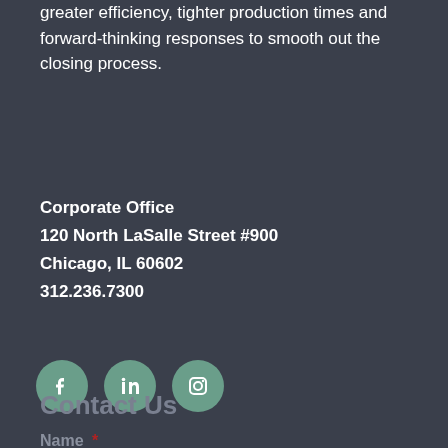experienced professionals help our customers attain greater efficiency, tighter production times and forward-thinking responses to smooth out the closing process.
Corporate Office
120 North LaSalle Street #900
Chicago, IL 60602
312.236.7300
[Figure (other): Three circular social media icons (Facebook, LinkedIn, Instagram) in muted green color on dark background]
Contact Us
Name *